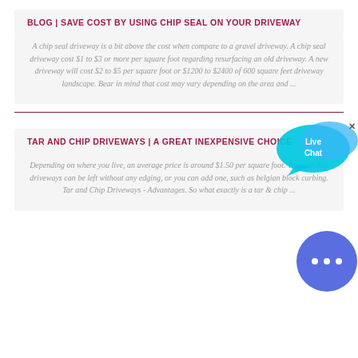BLOG | SAVE COST BY USING CHIP SEAL ON YOUR DRIVEWAY
A chip seal driveway is a bit above the cost when compare to a gravel driveway. A chip seal driveway cost $1 to $3 or more per square foot regarding resurfacing an old driveway. A new driveway will cost $2 to $5 per square foot or $1200 to $2400 of 600 square feet driveway landscape. Bear in mind that cost may vary depending on the area and ...
TAR AND CHIP DRIVEWAYS | A GREAT INEXPENSIVE CHOICE
Depending on where you live, an average price is around $1.50 per square foot. Tar and chip driveways can be left without any edging, or you can add one, such as belgian block curbing. Tar and Chip Driveways - Advantages. So what exactly is a tar & chip ...
[Figure (illustration): Live Chat speech bubble button overlay, cyan/blue colors with 'Live Chat' text and a close X button]
[Figure (illustration): Round blue chat icon button with three dots, partially visible at bottom right]